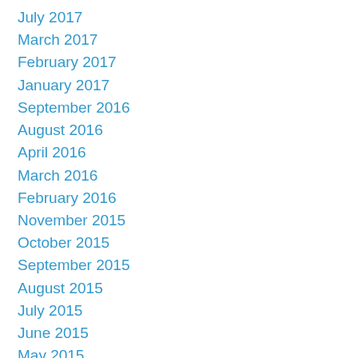July 2017
March 2017
February 2017
January 2017
September 2016
August 2016
April 2016
March 2016
February 2016
November 2015
October 2015
September 2015
August 2015
July 2015
June 2015
May 2015
April 2015
March 2015
February 2015
January 2015
November 2014